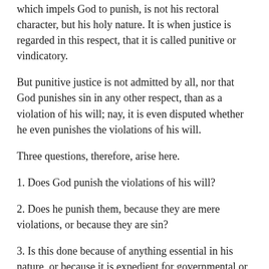which impels God to punish, is not his rectoral character, but his holy nature. It is when justice is regarded in this respect, that it is called punitive or vindicatory.
But punitive justice is not admitted by all, nor that God punishes sin in any other respect, than as a violation of his will; nay, it is even disputed whether he even punishes the violations of his will.
Three questions, therefore, arise here.
1. Does God punish the violations of his will?
2. Does he punish them, because they are mere violations, or because they are sin?
3. Is this done because of anything essential in his nature, or because it is expedient for governmental or